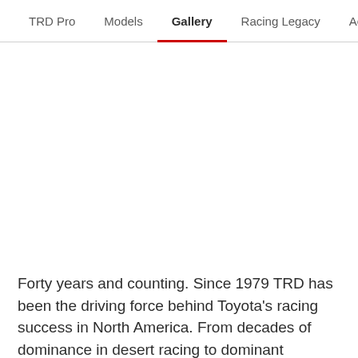TRD Pro | Models | Gallery | Racing Legacy | Accessories
[Figure (photo): Large empty white gallery image area below navigation bar]
Forty years and counting. Since 1979 TRD has been the driving force behind Toyota's racing success in North America. From decades of dominance in desert racing to dominant performances in IndyCar, to being the first Japanese manufacturer to compete -- and win --